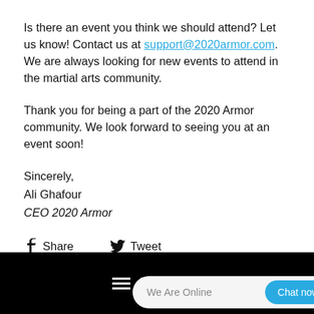Is there an event you think we should attend? Let us know! Contact us at support@2020armor.com. We are always looking for new events to attend in the martial arts community.
Thank you for being a part of the 2020 Armor community. We look forward to seeing you at an event soon!
Sincerely,
Ali Ghafour
CEO 2020 Armor
[Figure (other): Social sharing buttons: Facebook Share and Twitter Tweet icons with labels]
MENU (hamburger icon) with chat widget: We Are Online | Chat now